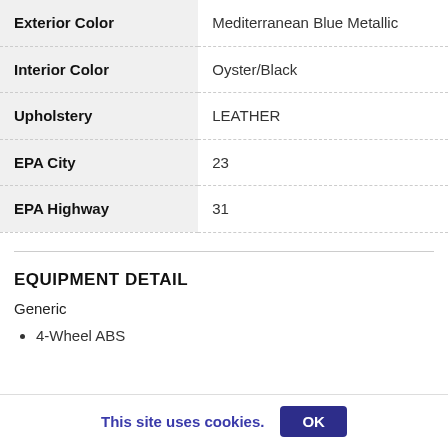| Exterior Color | Mediterranean Blue Metallic |
| Interior Color | Oyster/Black |
| Upholstery | LEATHER |
| EPA City | 23 |
| EPA Highway | 31 |
EQUIPMENT DETAIL
Generic
4-Wheel ABS
This site uses cookies. OK